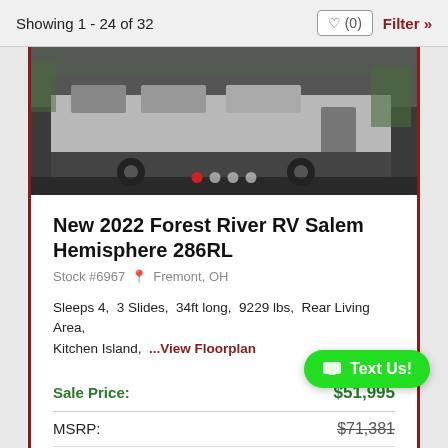Showing 1 - 24 of 32
[Figure (photo): Exterior photo of a Forest River RV Salem Hemisphere 286RL trailer, showing rear/side view with slide-outs visible. Dark background. Navigation dots visible at bottom (red dot active, three gray dots).]
New 2022 Forest River RV Salem Hemisphere 286RL
Stock #6967  Fremont, OH
Sleeps 4,  3 Slides,  34ft long,  9229 lbs,  Rear Living Area, Kitchen Island,  ...View Floorplan
Sale Price: $51,995
MSRP: $71,381
Save: $19,386
Payments From:
VIEW DETAILS »